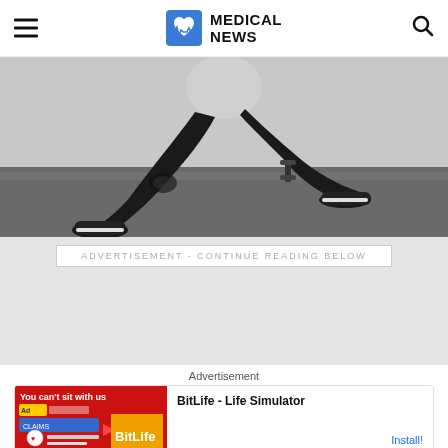MEDICAL NEWS
[Figure (photo): Person performing a lunge exercise wearing black athletic clothing and black sneakers, in a gym environment with concrete floor and white wall background.]
ADVERTISEMENT - CONTINUE READING BELOW
Advertisement
[Figure (screenshot): Ad banner for BitLife - Life Simulator app. Shows red/orange background with game imagery on left, app name and Install button on right.]